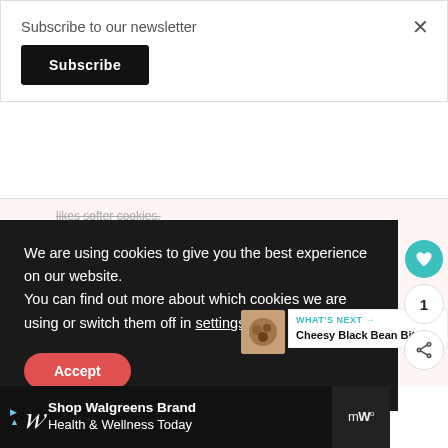Subscribe to our newsletter
Subscribe
likes softer cookies.
6. On a flat dusted surface roll out the dough up to ¼ inch
We are using cookies to give you the best experience on our website.
You can find out more about which cookies we are using or switch them off in settings.
Accept
0-15
etely
10. You may eat the cookie with no decoration ... taste as good and is healthier. You will be cutting down on lot of sugar as well.
Shop Walgreens Brand Health & Wellness Today